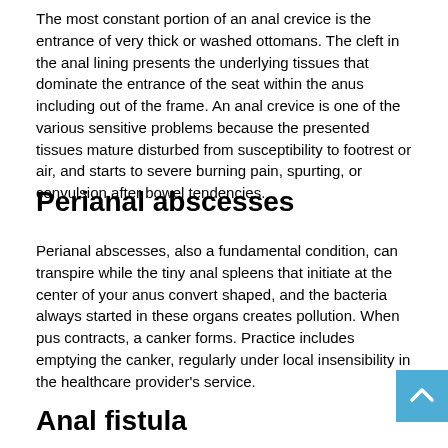The most constant portion of an anal crevice is the entrance of very thick or washed ottomans. The cleft in the anal lining presents the underlying tissues that dominate the entrance of the seat within the anus including out of the frame. An anal crevice is one of the various sensitive problems because the presented tissues mature disturbed from susceptibility to footrest or air, and starts to severe burning pain, spurting, or convulsion after bowel tendencies.
Perianal abscesses
Perianal abscesses, also a fundamental condition, can transpire while the tiny anal spleens that initiate at the center of your anus convert shaped, and the bacteria always started in these organs creates pollution. When pus contracts, a canker forms. Practice includes emptying the canker, regularly under local insensibility in the healthcare provider's service.
Anal fistula